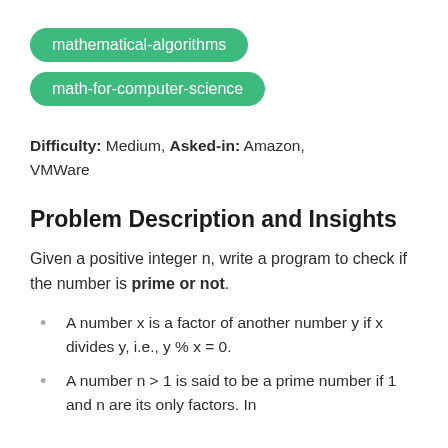mathematical-algorithms
math-for-computer-science
Difficulty: Medium, Asked-in: Amazon, VMWare
Problem Description and Insights
Given a positive integer n, write a program to check if the number is prime or not.
A number x is a factor of another number y if x divides y, i.e., y % x = 0.
A number n > 1 is said to be a prime number if 1 and n are its only factors. In